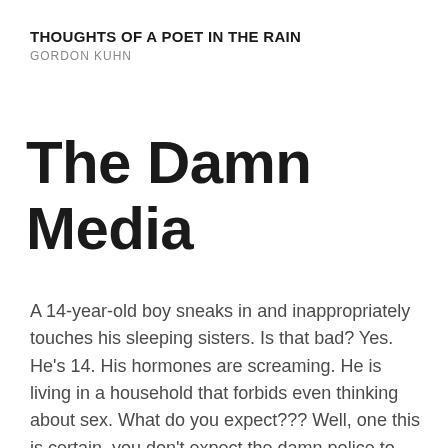THOUGHTS OF A POET IN THE RAIN
GORDON KUHN
The Damn Media
A 14-year-old boy sneaks in and inappropriately touches his sleeping sisters. Is that bad? Yes. He's 14. His hormones are screaming. He is living in a household that forbids even thinking about sex. What do you expect??? Well, one this is certain, you don't expect the damn police to release sealed records of a minor. That officer needs to be